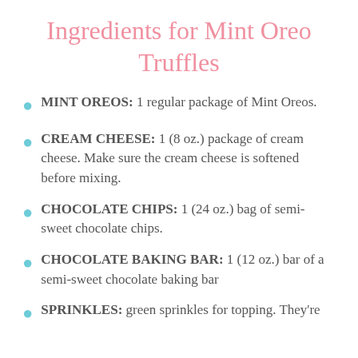Ingredients for Mint Oreo Truffles
MINT OREOS: 1 regular package of Mint Oreos.
CREAM CHEESE: 1 (8 oz.) package of cream cheese. Make sure the cream cheese is softened before mixing.
CHOCOLATE CHIPS: 1 (24 oz.) bag of semi-sweet chocolate chips.
CHOCOLATE BAKING BAR: 1 (12 oz.) bar of a semi-sweet chocolate baking bar
SPRINKLES: green sprinkles for topping. They’re